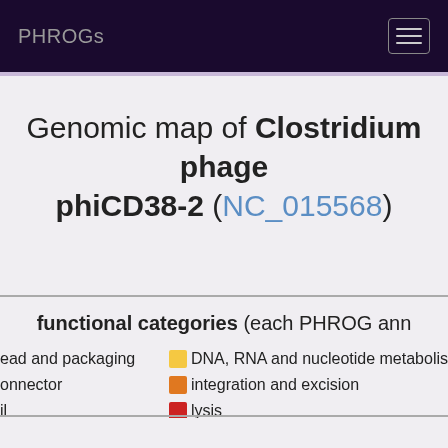PHROGs
Genomic map of Clostridium phage phiCD38-2 (NC_015568)
functional categories (each PHROG ann…
head and packaging
connector
il
DNA, RNA and nucleotide metabolis…
integration and excision
lysis